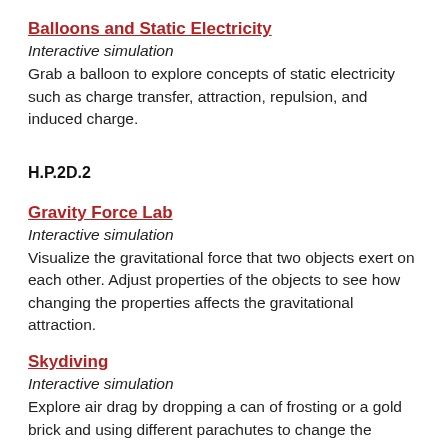Balloons and Static Electricity
Interactive simulation
Grab a balloon to explore concepts of static electricity such as charge transfer, attraction, repulsion, and induced charge.
H.P.2D.2
Gravity Force Lab
Interactive simulation
Visualize the gravitational force that two objects exert on each other. Adjust properties of the objects to see how changing the properties affects the gravitational attraction.
Skydiving
Interactive simulation
Explore air drag by dropping a can of frosting or a gold brick and using different parachutes to change the